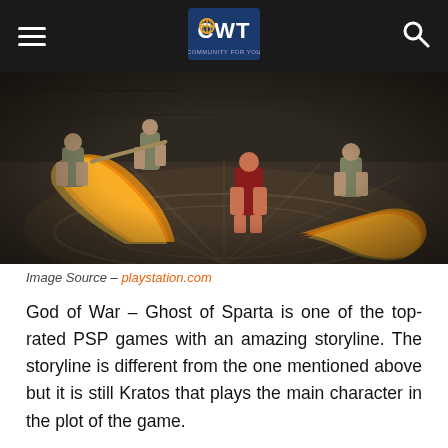CWT (logo) — navigation bar with hamburger menu and search icon
[Figure (screenshot): God of War Ghost of Sparta PSP game screenshot showing Kratos fighting enemies with flaming chain blades in an arena]
Image Source – playstation.com
God of War – Ghost of Sparta is one of the top-rated PSP games with an amazing storyline. The storyline is different from the one mentioned above but it is still Kratos that plays the main character in the plot of the game.
Undeniably one of the commonest PSP games on Android